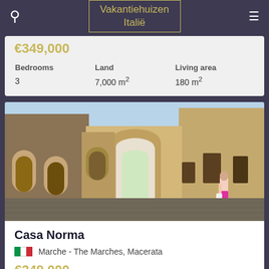Vakantiehuizen Italië
€349,000
| Bedrooms | Land | Living area |
| --- | --- | --- |
| 3 | 7,000 m² | 180 m² |
[Figure (photo): Street view of an Italian stone village with arched gateways; a woman in pink shorts walks along the cobblestone lane flanked by old stone buildings.]
Casa Norma
Marche - The Marches, Macerata
€249,000